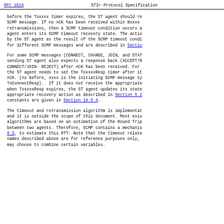RFC 1819    ST2+ Protocol Specification
before the Toxxxx timer expires, the ST agent should re SCMP message. If no ACK has been received within Nxxxx retransmissions, then a SCMP timeout condition occurs a agent enters its SCMP timeout recovery state. The actio by the ST agent as the result of the SCMP timeout condi for different SCMP messages and are described in Section
For some SCMP messages (CONNECT, CHANGE, JOIN, and STAT sending ST agent also expects a response back (ACCEPT/R CONNECT/JOIN- REJECT) after ACK has been received. For the ST agent needs to set the ToxxxxResp timer after it ACK. (As before, xxxx is the initiating SCMP message ty ToConnectResp).  If it does not receive the appropriate when ToxxxxResp expires, the ST agent updates its state appropriate recovery action as described in Section 5.2 constants are given in Section 10.5.4.
The timeout and retransmission algorithm is implementat and it is outside the scope of this document. Most exis algorithms are based on an estimation of the Round Trip between two agents. Therefore, SCMP contains a mechanis 8.5, to estimate this RTT. Note that the timeout relate names described above are for reference purposes only, may choose to combine certain variables.